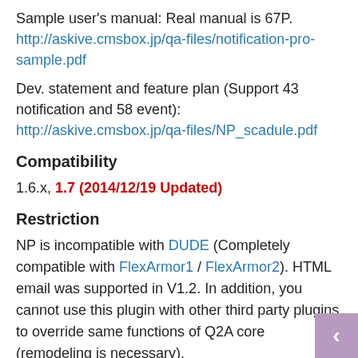Sample user's manual: Real manual is 67P. http://askive.cmsbox.jp/qa-files/notification-pro-sample.pdf
Dev. statement and feature plan (Support 43 notification and 58 event): http://askive.cmsbox.jp/qa-files/NP_scadule.pdf
Compatibility
1.6.x, 1.7 (2014/12/19 Updated)
Restriction
NP is incompatible with DUDE (Completely compatible with FlexArmor1 / FlexArmor2). HTML email was supported in V1.2. In addition, you cannot use this plugin with other third party plugins to override same functions of Q2A core (remodeling is necessary).
Dev. history  (summary)